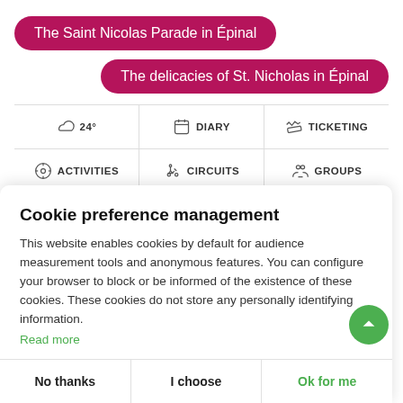The Saint Nicolas Parade in Épinal
The delicacies of St. Nicholas in Épinal
[Figure (screenshot): Navigation bar row 1: weather icon with 24°, DIARY icon, TICKETING icon]
[Figure (screenshot): Navigation bar row 2: ACTIVITIES icon, CIRCUITS icon (hiker/bike), GROUPS icon]
Cookie preference management
This website enables cookies by default for audience measurement tools and anonymous features. You can configure your browser to block or be informed of the existence of these cookies. These cookies do not store any personally identifying information.
Read more
No thanks
I choose
Ok for me